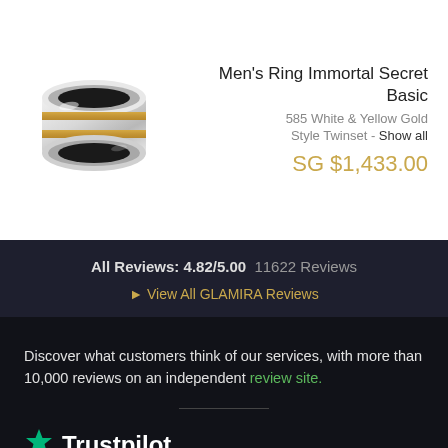[Figure (photo): Men's ring with white and yellow gold bands, shown at an angle]
Men's Ring Immortal Secret Basic
585 White & Yellow Gold
Style Twinset - Show all
SG $1,433.00
All Reviews: 4.82/5.00  11622 Reviews
▶ View All GLAMIRA Reviews
Discover what customers think of our services, with more than 10,000 reviews on an independent review site.
[Figure (logo): Trustpilot logo with green star and text]
4.7  •  Excellent